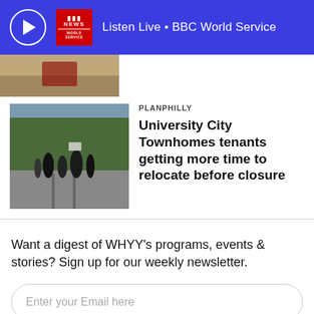Listen Live • BBC World Service
[Figure (photo): Partial image of a street scene, top portion cut off]
[Figure (photo): People marching on a city street with trees in the background]
PLANPHILLY
University City Townhomes tenants getting more time to relocate before closure
Want a digest of WHYY's programs, events & stories? Sign up for our weekly newsletter.
Enter your Email here